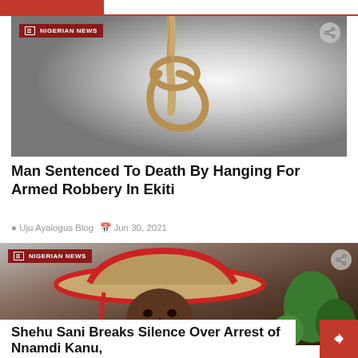NIGERIAN NEWS (header bar)
[Figure (photo): Photo of a rope noose hanging against a grey-white gradient background, with a red 'NIGERIAN NEWS' badge overlay and share icon in top right]
Man Sentenced To Death By Hanging For Armed Robbery In Ekiti
Uju Ayalogus Blog  Jun 30, 2021
[Figure (photo): Photo of a man wearing a straw hat with red brim, looking serious, with green plants in background, and a red 'NIGERIAN NEWS' badge overlay and share icon]
Shehu Sani Breaks Silence Over Arrest of Nnamdi Kanu,